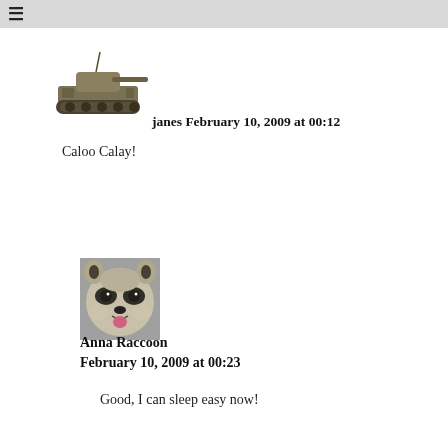≡
[Figure (photo): Avatar image of a military tank (Sherman tank), side profile view]
janes February 10, 2009 at 00:12
Caloo Calay!
[Figure (photo): Avatar image of a raccoon with mouth open showing tongue, close-up face photo]
Anna Raccoon February 10, 2009 at 00:23
Good, I can sleep easy now!